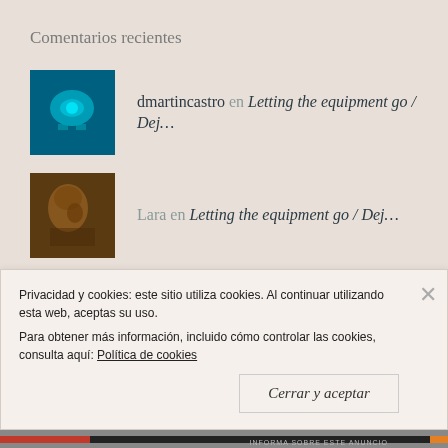Comentarios recientes
dmartincastro en Letting the equipment go / Dej...
Lara en Letting the equipment go / Dej...
dmartincastro en A little trick that would save...
kepilla en A little trick that would save...
Privacidad y cookies: este sitio utiliza cookies. Al continuar utilizando esta web, aceptas su uso.
Para obtener más información, incluido cómo controlar las cookies, consulta aquí: Política de cookies
Cerrar y aceptar